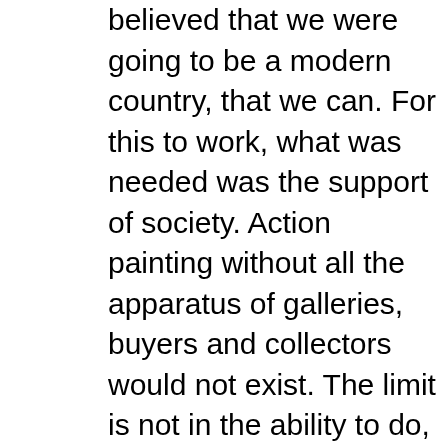believed that we were going to be a modern country, that we can. For this to work, what was needed was the support of society. Action painting without all the apparatus of galleries, buyers and collectors would not exist. The limit is not in the ability to do, but in what land you sow it.¨   This publication called Manuel Felguérez: El Futuro era Nuestro  The Future was Ours along with beautiful document online of his final exhibition you can read/download at https://muac.unam.mx/exposicion/manuel-felguerez.  For me a longtime fan from the US of Jackson Pollock the action painter its a bit rich in misinterpretation of exactly what and whom the US and international art